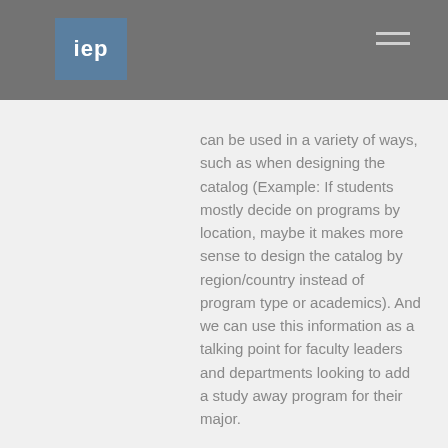iep
can be used in a variety of ways, such as when designing the catalog (Example: If students mostly decide on programs by location, maybe it makes more sense to design the catalog by region/country instead of program type or academics). And we can use this information as a talking point for faculty leaders and departments looking to add a study away program for their major.